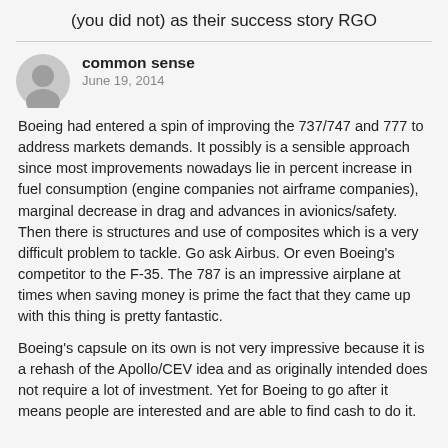(you did not) as their success story RGO
common sense
June 19, 2014

Boeing had entered a spin of improving the 737/747 and 777 to address markets demands. It possibly is a sensible approach since most improvements nowadays lie in percent increase in fuel consumption (engine companies not airframe companies), marginal decrease in drag and advances in avionics/safety. Then there is structures and use of composites which is a very difficult problem to tackle. Go ask Airbus. Or even Boeing's competitor to the F-35. The 787 is an impressive airplane at times when saving money is prime the fact that they came up with this thing is pretty fantastic.

Boeing's capsule on its own is not very impressive because it is a rehash of the Apollo/CEV idea and as originally intended does not require a lot of investment. Yet for Boeing to go after it means people are interested and are able to find cash to do it.